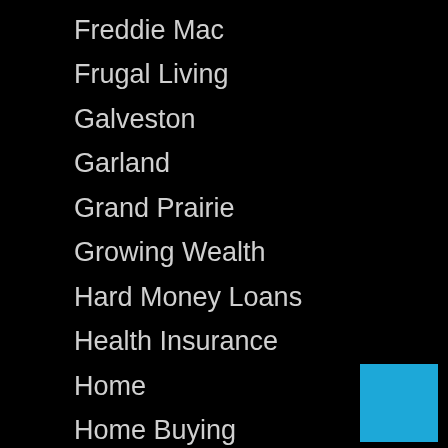Freddie Mac
Frugal Living
Galveston
Garland
Grand Prairie
Growing Wealth
Hard Money Loans
Health Insurance
Home
Home Buying
Home Buying Tips
Home Decor
Home Design
Home Equity Loans
Home Improvement